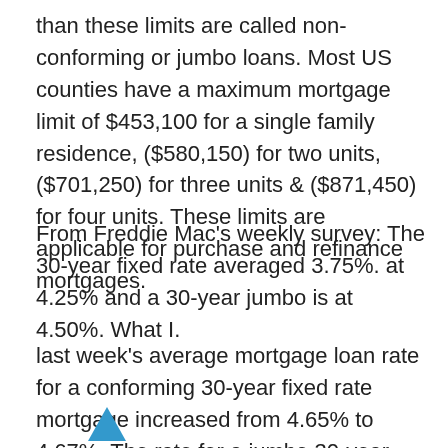than these limits are called non-conforming or jumbo loans. Most US counties have a maximum mortgage limit of $453,100 for a single family residence, ($580,150) for two units, ($701,250) for three units & ($871,450) for four units. These limits are applicable for purchase and refinance mortgages.
From Freddie Mac's weekly survey: The 30-year fixed rate averaged 3.75%. at 4.25% and a 30-year jumbo is at 4.50%. What I.
last week's average mortgage loan rate for a conforming 30-year fixed rate mortgage increased from 4.65% to 4.67%. The rate for a jumbo 30-year fixed-rate mortgage ticked up from 4.40% to 4.41%. The.